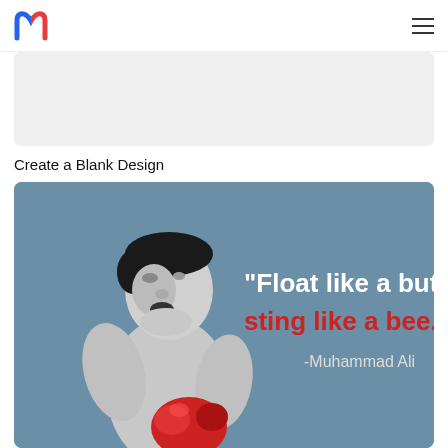m (logo) | hamburger menu
[Figure (other): Gray blank design placeholder area]
Create a Blank Design
[Figure (illustration): Illustration of Muhammad Ali boxing with quote: "Float like a butterfly sting like a bee." -Muhammad Ali, on a steel-blue background]